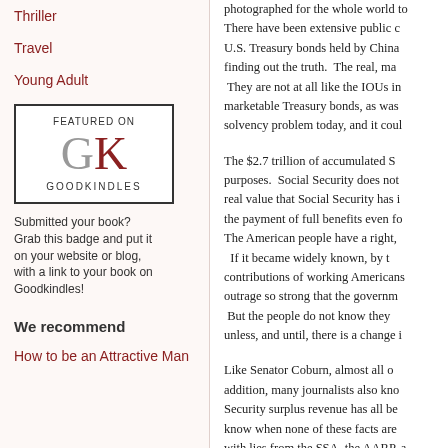Thriller
Travel
Young Adult
[Figure (logo): Goodkindles badge: 'FEATURED ON' with large GK letters (G in gray, K in dark red), and 'GOODKINDLES' text below]
Submitted your book? Grab this badge and put it on your website or blog, with a link to your book on Goodkindles!
We recommend
How to be an Attractive Man
photographed for the whole world to see. There have been extensive public c... U.S. Treasury bonds held by China... finding out the truth. The real, ma... They are not at all like the IOUs in marketable Treasury bonds, as was... solvency problem today, and it coul...
The $2.7 trillion of accumulated S... purposes. Social Security does not... real value that Social Security has i... the payment of full benefits even for... The American people have a right, ... If it became widely known, by t... contributions of working Americans... outrage so strong that the governm... But the people do not know they... unless, and until, there is a change i...
Like Senator Coburn, almost all o... addition, many journalists also kno... Security surplus revenue has all be... know when none of these facts are... with lies from the SSA, the AARP, a... b... think f... th... it...